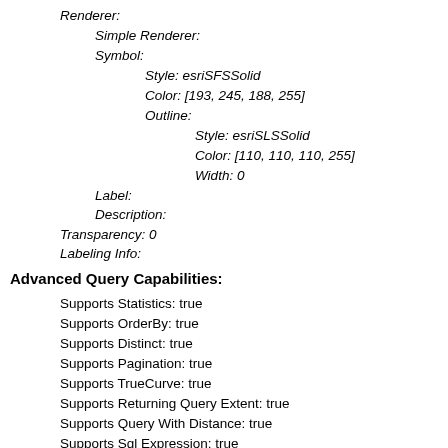Renderer:
Simple Renderer:
Symbol:
Style: esriSFSSolid
Color: [193, 245, 188, 255]
Outline:
Style: esriSLSSolid
Color: [110, 110, 110, 255]
Width: 0
Label:
Description:
Transparency: 0
Labeling Info:
Advanced Query Capabilities:
Supports Statistics: true
Supports OrderBy: true
Supports Distinct: true
Supports Pagination: true
Supports TrueCurve: true
Supports Returning Query Extent: true
Supports Query With Distance: true
Supports Sql Expression: true
Supports Query With ResultType: false
Supports Returning Geometry Centroid: false
Supports Binning LOD: false
Supports Query With LOD Spatial Reference: false